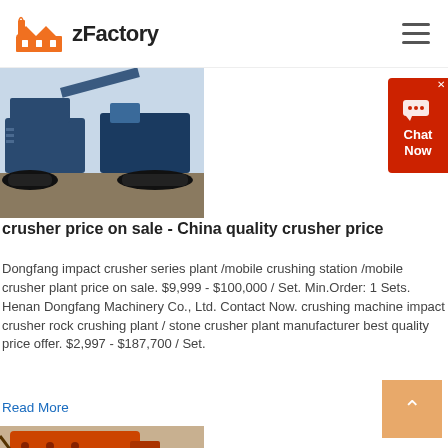zFactory
[Figure (photo): Blue mobile crusher/crushing station machinery on tracks, parked outdoors on gravel.]
[Figure (other): Red chat widget button with speech bubble icon and text 'Chat Now']
crusher price on sale - China quality crusher price
Dongfang impact crusher series plant /mobile crushing station /mobile crusher plant price on sale. $9,999 - $100,000 / Set. Min.Order: 1 Sets. Henan Dongfang Machinery Co., Ltd. Contact Now. crushing machine impact crusher rock crushing plant / stone crusher plant manufacturer best quality price offer. $2,997 - $187,700 / Set.
Read More
[Figure (photo): Orange/rust colored large industrial crusher machine, close-up view.]
[Figure (other): Orange scroll-to-top button with upward arrow chevron.]